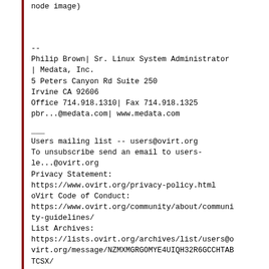node image)
--
Philip Brown| Sr. Linux System Administrator | Medata, Inc.
5 Peters Canyon Rd Suite 250
Irvine CA 92606
Office 714.918.1310| Fax 714.918.1325
pbr...@medata.com| www.medata.com
___
Users mailing list -- users@ovirt.org
To unsubscribe send an email to users-le...@ovirt.org
Privacy Statement:
https://www.ovirt.org/privacy-policy.html
oVirt Code of Conduct:
https://www.ovirt.org/community/about/community-guidelines/
List Archives:
https://lists.ovirt.org/archives/list/users@ovirt.org/message/NZMXMGRGOMYE4UIQH32R6GCCHTABTCSX/